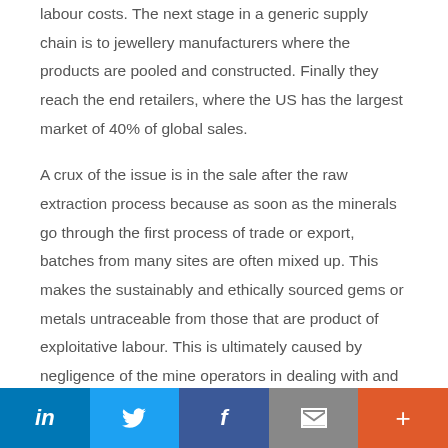labour costs. The next stage in a generic supply chain is to jewellery manufacturers where the products are pooled and constructed. Finally they reach the end retailers, where the US has the largest market of 40% of global sales.

A crux of the issue is in the sale after the raw extraction process because as soon as the minerals go through the first process of trade or export, batches from many sites are often mixed up. This makes the sustainably and ethically sourced gems or metals untraceable from those that are product of exploitative labour. This is ultimately caused by negligence of the mine operators in dealing with and processing their products in a way in which they can
LinkedIn | Twitter | Facebook | Email | More